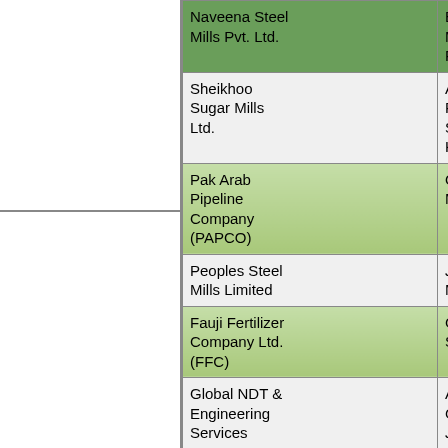| Company/Organization | Location |
| --- | --- |
| Naveena Steel Mills Pvt. Ltd. | Banglore Main Sha Faisal |
| Sheikhoo Sugar Mills Ltd. | Anwar Al Patti Nai Sanawar Kot Addu |
| Pak Arab Pipeline Company (PAPCO) | Qasba G Mehmoo |
| Peoples Steel Mills Limited | Javedan Manghop |
| Fauji Fertilizer Company Ltd. (FFC) | Goth Ma Sadiqaba |
| Global NDT & Engineering Services | A-127, B Gulistan-Jauhar |
| Shamim & Company Pvt. Ltd. (PEPSI) | District J |